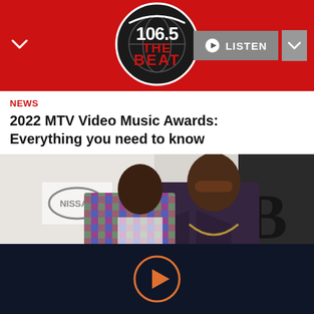106.5 The Beat
[Figure (logo): 106.5 The Beat radio station logo — circular logo with globe/basketball imagery, white text '106.5' on top, red stylized 'THE BEAT' text below, on red background header]
NEWS
2022 MTV Video Music Awards: Everything you need to know
[Figure (photo): Two men standing at what appears to be a red carpet or media event. A man in the foreground wears a dark purple/maroon suit jacket with sunglasses and chains. Behind him, another man in a colorful patterned jacket. A Nissan logo is visible in the background on a white step-and-repeat backdrop.]
[Figure (other): Orange play button circle icon on dark navy background, indicating a video player control]